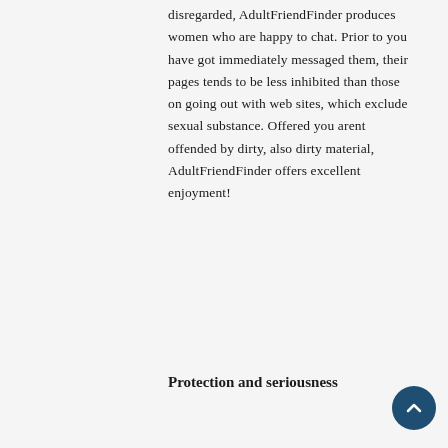disregarded, AdultFriendFinder produces women who are happy to chat. Prior to you have got immediately messaged them, their pages tends to be less inhibited than those on going out with web sites, which exclude sexual substance. Offered you arent offended by dirty, also dirty material, AdultFriendFinder offers excellent enjoyment!
Protection and seriousness